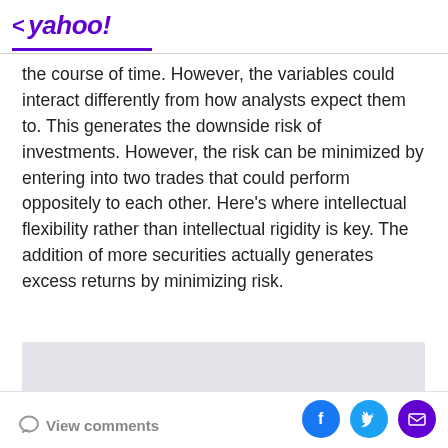< yahoo!
the course of time. However, the variables could interact differently from how analysts expect them to. This generates the downside risk of investments. However, the risk can be minimized by entering into two trades that could perform oppositely to each other. Here's where intellectual flexibility rather than intellectual rigidity is key. The addition of more securities actually generates excess returns by minimizing risk.
[Figure (other): Light gray advertisement/placeholder box]
View comments | Facebook | Twitter | Email share icons